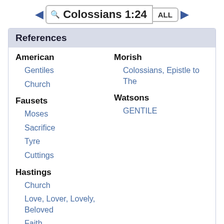Colossians 1:24 ALL
References
American
Gentiles
Church
Fausets
Moses
Sacrifice
Tyre
Cuttings
Hastings
Church
Love, Lover, Lovely, Beloved
Faith
Morish
Colossians, Epistle to The
Watsons
GENTILE